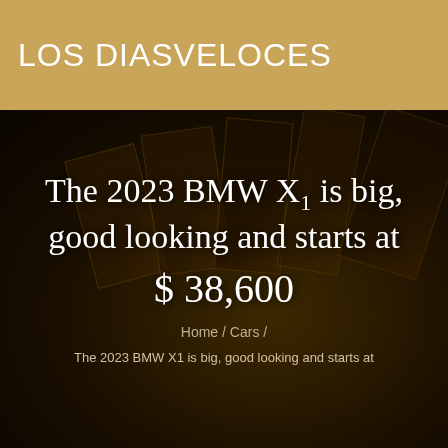LOS DIASVELOCES
The 2023 BMW X1 is big, good looking and starts at $ 38,600
Home / Cars /
The 2023 BMW X1 is big, good looking and starts at